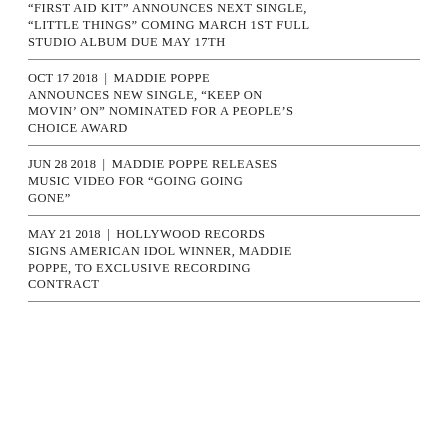“FIRST AID KIT” ANNOUNCES NEXT SINGLE, “LITTLE THINGS” COMING MARCH 1ST FULL STUDIO ALBUM DUE MAY 17TH
Oct 17 2018 | MADDIE POPPE ANNOUNCES NEW SINGLE, “KEEP ON MOVIN’ ON” NOMINATED FOR A PEOPLE’S CHOICE AWARD
Jun 28 2018 | MADDIE POPPE RELEASES MUSIC VIDEO FOR “GOING GOING GONE”
May 21 2018 | HOLLYWOOD RECORDS SIGNS AMERICAN IDOL WINNER, MADDIE POPPE, TO EXCLUSIVE RECORDING CONTRACT